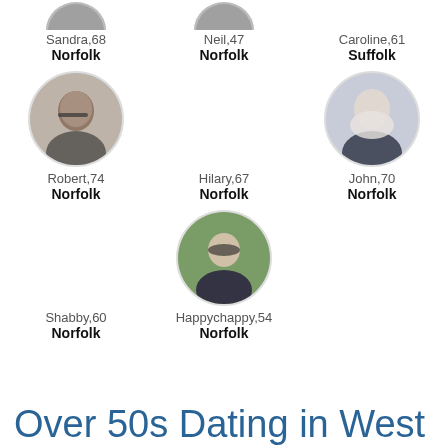[Figure (photo): Profile photo of Sandra, 68, Norfolk — circular avatar (partially visible at top)]
Sandra,68
Norfolk
[Figure (photo): Profile photo of Neil, 47, Norfolk — circular avatar (partially visible at top)]
Neil,47
Norfolk
[Figure (photo): Profile photo of Caroline, 61, Suffolk — no circular avatar shown]
Caroline,61
Suffolk
[Figure (photo): Circular profile photo of Robert, 74, Norfolk — bald man with glasses]
Robert,74
Norfolk
Hilary,67
Norfolk
[Figure (photo): Circular profile photo of John, 70, Norfolk — older man with white beard]
John,70
Norfolk
Shabby,60
Norfolk
[Figure (photo): Circular profile photo of Happychappy, 54, Norfolk — man with sunglasses outdoors]
Happychappy,54
Norfolk
Over 50s Dating in West